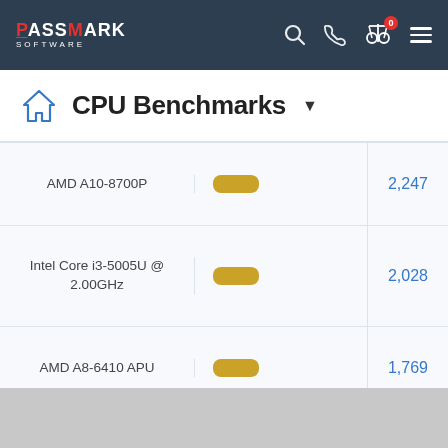PassMark Software
CPU Benchmarks
| CPU | Bar | Score |
| --- | --- | --- |
| AMD A10-8700P |  | 2,247 |
| Intel Core i3-5005U @ 2.00GHz |  | 2,028 |
| AMD A8-6410 APU |  | 1,769 |
| AMD A6-7310 APU |  | 1,737 |
| AMD A4-7210 APU |  | 1,669 |